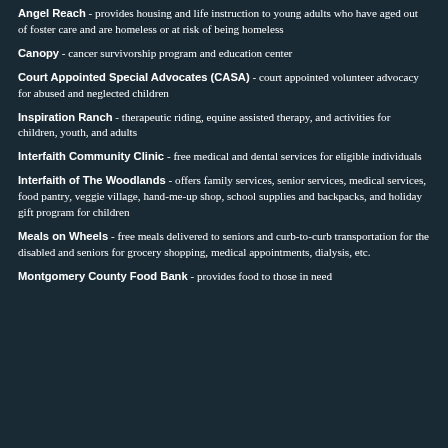Angel Reach - provides housing and life instruction to young adults who have aged out of foster care and are homeless or at risk of being homeless
Canopy - cancer survivorship program and education center
Court Appointed Special Advocates (CASA) - court appointed volunteer advocacy for abused and neglected children
Inspiration Ranch - therapeutic riding, equine assisted therapy, and activities for children, youth, and adults
Interfaith Community Clinic - free medical and dental services for eligible individuals
Interfaith of The Woodlands - offers family services, senior services, medical services, food pantry, veggie village, hand-me-up shop, school supplies and backpacks, and holiday gift program for children
Meals on Wheels - free meals delivered to seniors and curb-to-curb transportation for the disabled and seniors for grocery shopping, medical appointments, dialysis, etc.
Montgomery County Food Bank - provides food to those in need